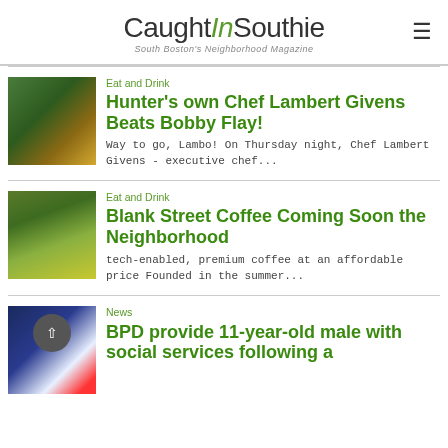CaughtInSouthie — South Boston's Neighborhood Magazine
Eat and Drink
Hunter's own Chef Lambert Givens Beats Bobby Flay!
Way to go, Lambo! On Thursday night, Chef Lambert Givens - executive chef...
Eat and Drink
Blank Street Coffee Coming Soon the Neighborhood
tech-enabled, premium coffee at an affordable price Founded in the summer...
News
BPD provide 11-year-old male with social services following a